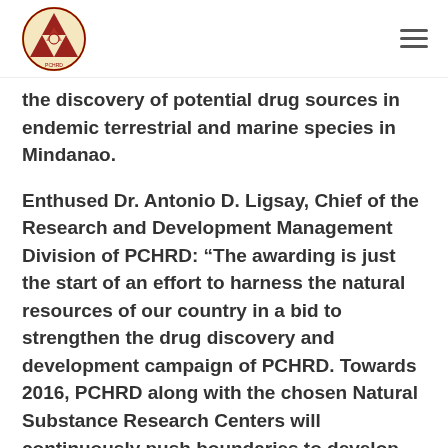[PCHRD Logo] [Navigation menu icon]
the discovery of potential drug sources in endemic terrestrial and marine species in Mindanao.
Enthused Dr. Antonio D. Ligsay, Chief of the Research and Development Management Division of PCHRD: “The awarding is just the start of an effort to harness the natural resources of our country in a bid to strengthen the drug discovery and development campaign of PCHRD. Towards 2016, PCHRD along with the chosen Natural Substance Research Centers will continuously push boundaries to develop